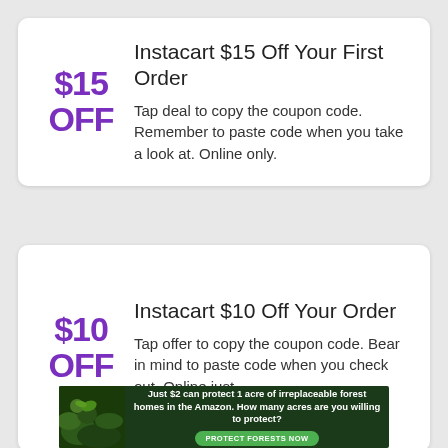Instacart $15 Off Your First Order
$15 OFF
Tap deal to copy the coupon code. Remember to paste code when you take a look at. Online only.
Instacart $10 Off Your Order
$10 OFF
Tap offer to copy the coupon code. Bear in mind to paste code when you check out. Online just.
[Figure (infographic): Advertisement banner with forest background image showing text: 'Just $2 can protect 1 acre of irreplaceable forest homes in the Amazon. How many acres are you willing to protect?' with a green 'PROTECT FORESTS NOW' button.]